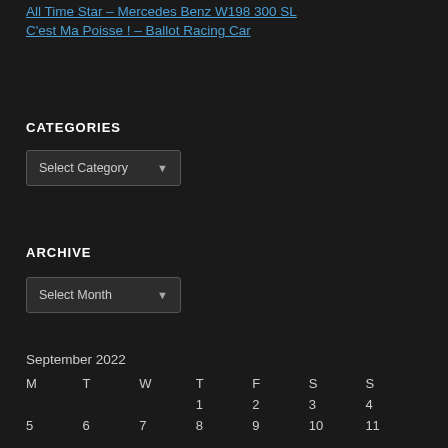All Time Star – Mercedes Benz W198 300 SL
C'est Ma Poisse ! – Ballot Racing Car
CATEGORIES
[Figure (screenshot): Dropdown widget showing 'Select Category' with a downward arrow, dark background]
ARCHIVE
[Figure (screenshot): Dropdown widget showing 'Select Month' with a downward arrow, dark background]
September 2022
| M | T | W | T | F | S | S |
| --- | --- | --- | --- | --- | --- | --- |
|  |  |  | 1 | 2 | 3 | 4 |
| 5 | 6 | 7 | 8 | 9 | 10 | 11 |